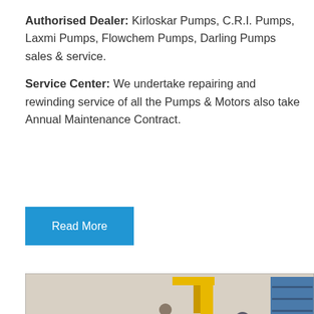Authorised Dealer: Kirloskar Pumps, C.R.I. Pumps, Laxmi Pumps, Flowchem Pumps, Darling Pumps sales & service.
Service Center: We undertake repairing and rewinding service of all the Pumps & Motors also take Annual Maintenance Contract.
Read More
[Figure (photo): Industrial workshop showing workers assembling or servicing blue pumps and motors on the factory floor, with yellow lifting equipment and industrial shelving in the background.]